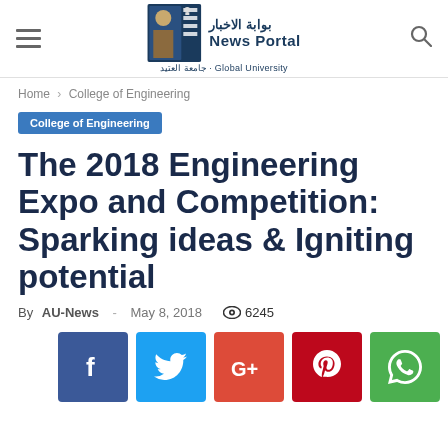بوابة الاخبار News Portal
Home › College of Engineering
College of Engineering
The 2018 Engineering Expo and Competition: Sparking ideas & Igniting potential
By AU-News - May 8, 2018  👁 6245
[Figure (infographic): Social share buttons: Facebook (blue), Twitter (light blue), Google+ (red-orange), Pinterest (dark red), WhatsApp (green)]